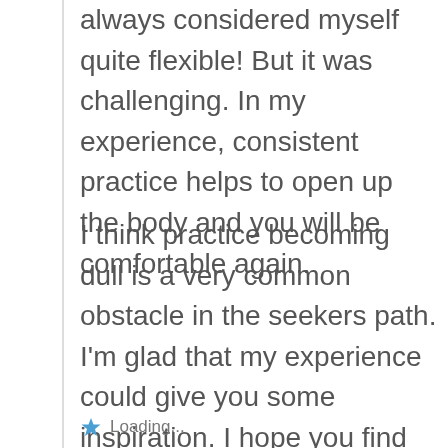always considered myself quite flexible! But it was challenging. In my experience, consistent practice helps to open up the body and you will be comfortable again.
I think practice becoming dull is a very common obstacle in the seekers path. I'm glad that my experience could give you some inspiration. I hope you find your practices now are coming back to life again!
Loading...